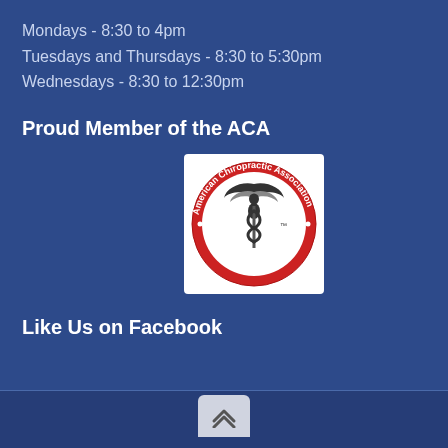Mondays - 8:30 to 4pm
Tuesdays and Thursdays - 8:30 to 5:30pm
Wednesdays - 8:30 to 12:30pm
Proud Member of the ACA
[Figure (logo): American Chiropractic Association Member logo — circular red badge with winged caduceus figure and text 'American Chiropractic Association MEMBER']
Like Us on Facebook